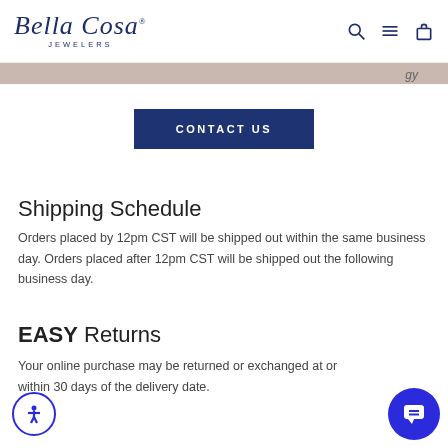Bella Cosa Jewelers
[Figure (screenshot): Contact Us button on beige/white background section]
Shipping Schedule
Orders placed by 12pm CST will be shipped out within the same business day. Orders placed after 12pm CST will be shipped out the following business day.
EASY Returns
Your online purchase may be returned or exchanged at or within 30 days of the delivery date.